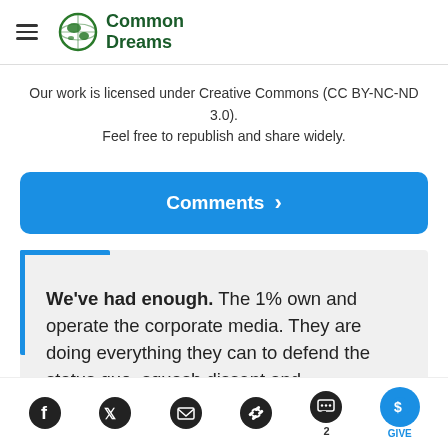Common Dreams
Our work is licensed under Creative Commons (CC BY-NC-ND 3.0). Feel free to republish and share widely.
Comments ›
We've had enough. The 1% own and operate the corporate media. They are doing everything they can to defend the status quo, squash dissent and
Facebook Twitter Email Link Comments 2 GIVE